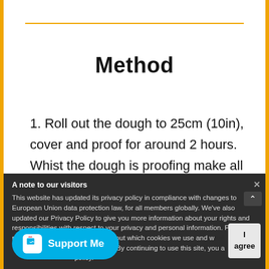Method
1. Roll out the dough to 25cm (10in), cover and proof for around 2 hours. Whist the dough is proofing make all the other elements.
2. To make the almond topping put the almonds and keep warm on the side.
A note to our visitors
This website has updated its privacy policy in compliance with changes to European Union data protection law, for all members globally. We've also updated our Privacy Policy to give you more information about your rights and responsibilities with respect to your privacy and personal information. Please read this to review the updates about which cookies we use and what information we collect on our site. By continuing to use this site, you are agreeing to our updated privacy policy.